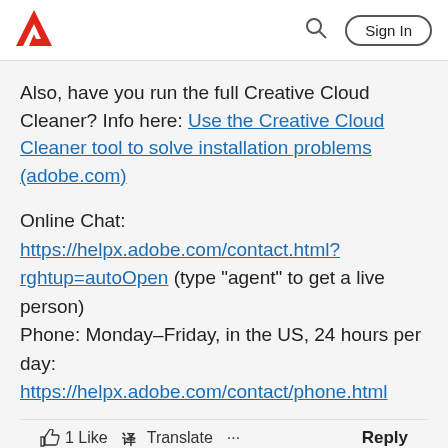Adobe logo | Search | Sign In
Also, have you run the full Creative Cloud Cleaner? Info here: Use the Creative Cloud Cleaner tool to solve installation problems (adobe.com)
Online Chat:
https://helpx.adobe.com/contact.html?rghtup=autoOpen (type "agent" to get a live person)
Phone: Monday–Friday, in the US, 24 hours per day:
https://helpx.adobe.com/contact/phone.html
1 Like  Translate  ...  Reply